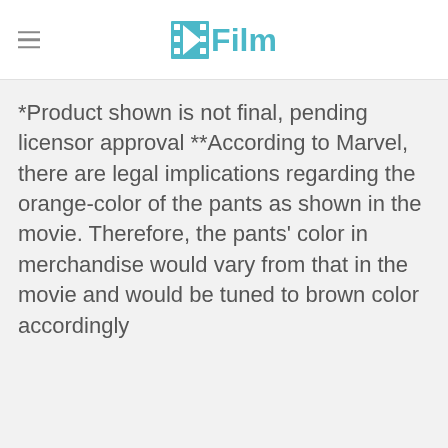/Film
*Product shown is not final, pending licensor approval **According to Marvel, there are legal implications regarding the orange-color of the pants as shown in the movie. Therefore, the pants' color in merchandise would vary from that in the movie and would be tuned to brown color accordingly